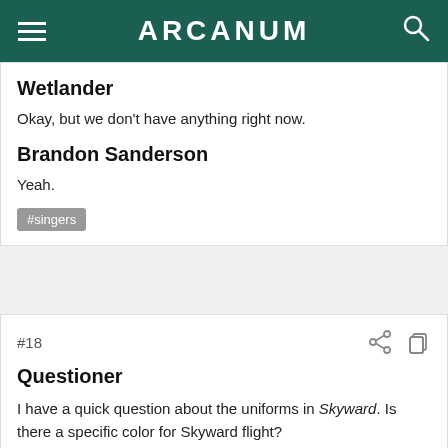ARCANUM
Wetlander
Okay, but we don't have anything right now.
Brandon Sanderson
Yeah.
#singers
#18
Questioner
I have a quick question about the uniforms in Skyward. Is there a specific color for Skyward flight?
Brandon Sanderson
Not for Skyward flight. They are all using the same jumpsuits, and things like this. By the second book, they probably will